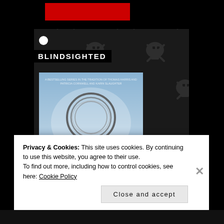[Figure (screenshot): Dark background with repeating skull and crossbones pattern in dark gray on near-black]
BLINDSIGHTED
[Figure (photo): Book cover of 'Kisscut' by Karin Slaughter - blue/icy atmospheric cover with circular wire/rope motif]
KISSCUT
Privacy & Cookies: This site uses cookies. By continuing to use this website, you agree to their use.
To find out more, including how to control cookies, see here: Cookie Policy
Close and accept